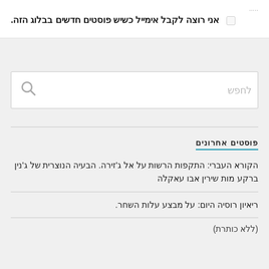....
אני רוצה לקבל אימייל כשיש פוסטים חדשים בבלוג הזה.
[Figure (other): Search box with magnifying glass icon and placeholder text 'לחפש']
פוסטים אחרונים
הקורא העברי: התקפות הרשות על אל ג'זירה. הבעיה הנוצרית של ג'נין ברקע מות שירין אבו עאקלה
ריאיון רוסיה היום: על מבצע עלות השחר.
(ללא כותרת)